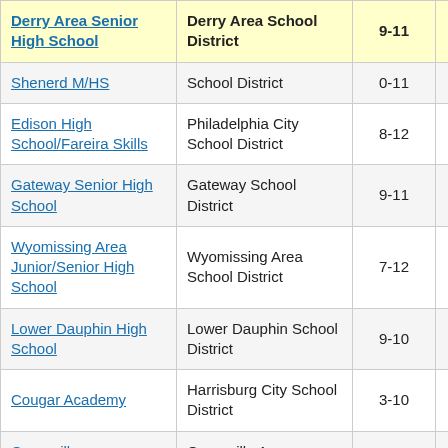| School | District | Grades | Value |  |
| --- | --- | --- | --- | --- |
| Derry Area Senior High School | Derry Area School District | 9-11 | 12.9 | 2 |
| Shenerd M/HS | School District | 0-11 | 1.1 |  |
| Edison High School/Fareira Skills | Philadelphia City School District | 8-12 | 0.7 |  |
| Gateway Senior High School | Gateway School District | 9-11 | 0.5 |  |
| Wyomissing Area Junior/Senior High School | Wyomissing Area School District | 7-12 | 0.5 |  |
| Lower Dauphin High School | Lower Dauphin School District | 9-10 | 0.3 |  |
| Cougar Academy | Harrisburg City School District | 3-10 | 0.9 |  |
| Greenville | Greenville Area |  |  |  |